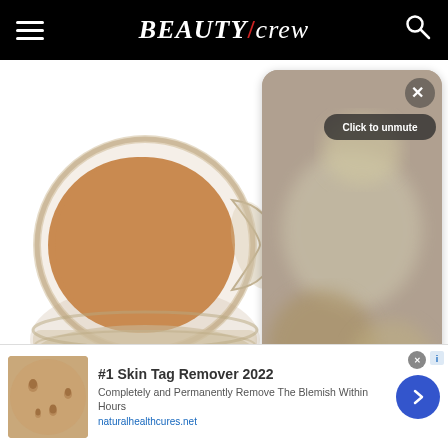BEAUTY/crew
[Figure (photo): Open jar of concealer/foundation makeup product with a warm beige/tan shade, viewed from above on white background]
[Figure (screenshot): Video overlay panel with blurred/muted content, showing Close (X) button, Click to unmute button, and pause controls]
[Figure (photo): Advertisement banner: skin tag remover product ad with thumbnail image of skin, headline '#1 Skin Tag Remover 2022', description text, naturalhealthcures.net URL, and blue arrow CTA button]